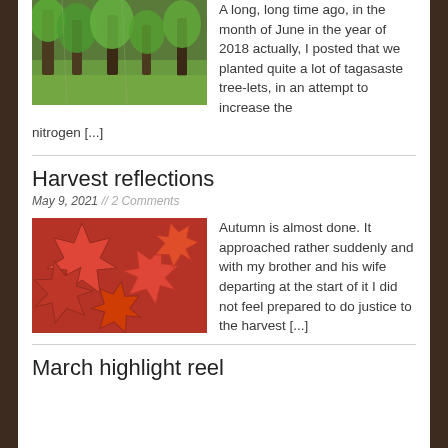[Figure (photo): Photo of green trees and grass, likely tagasaste tree-lets in a field]
A long, long time ago, in the month of June in the year of 2018 actually, I posted that we planted quite a lot of tagasaste tree-lets, in an attempt to increase the nitrogen [...]
Harvest reflections
May 9, 2021 // 2 Comments
[Figure (photo): Close-up photo of bright red autumn maple leaves]
Autumn is almost done.  It approached rather suddenly and with my brother and his wife departing at the start of it I did not feel prepared to do justice to the harvest [...]
March highlight reel